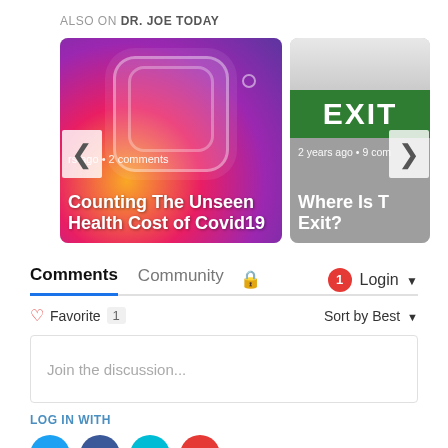ALSO ON DR. JOE TODAY
[Figure (screenshot): Two article preview cards. Left card: Instagram logo background with text 'rs ago • 2 comments' and title 'Counting The Unseen Health Cost of Covid19'. Right card: EXIT sign image with text '2 years ago • 9 com' and title 'Where Is T Exit?'. Navigation arrows on left and right.]
Comments | Community | 🔒 | 1 | Login ▾
♡ Favorite 1 | Sort by Best ▾
Join the discussion...
LOG IN WITH